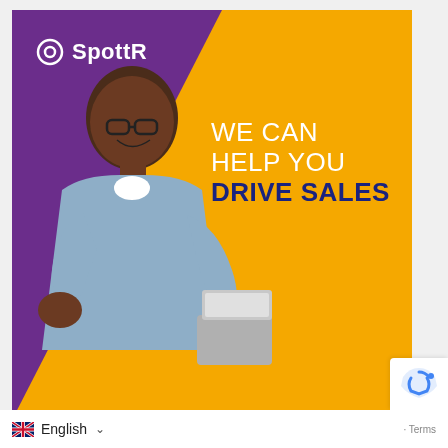[Figure (illustration): SpottR advertisement banner with purple and yellow background. A smiling man wearing glasses and a denim shirt holds a laptop in one hand and raises a fist in celebration. The SpottR logo appears top-left in white. Text reads 'WE CAN HELP YOU DRIVE SALES'. Bottom shows English language selector and reCAPTCHA badge.]
SpottR
WE CAN HELP YOU DRIVE SALES
English · Terms